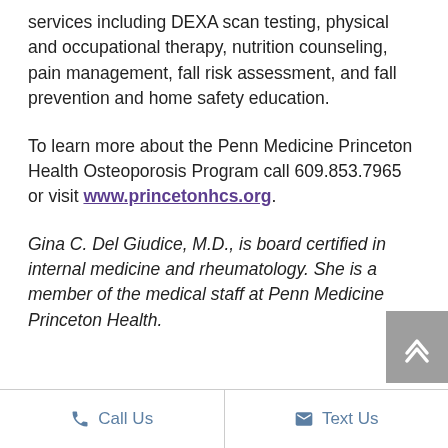services including DEXA scan testing, physical and occupational therapy, nutrition counseling, pain management, fall risk assessment, and fall prevention and home safety education.
To learn more about the Penn Medicine Princeton Health Osteoporosis Program call 609.853.7965 or visit www.princetonhcs.org.
Gina C. Del Giudice, M.D., is board certified in internal medicine and rheumatology. She is a member of the medical staff at Penn Medicine Princeton Health.
Call Us   Text Us